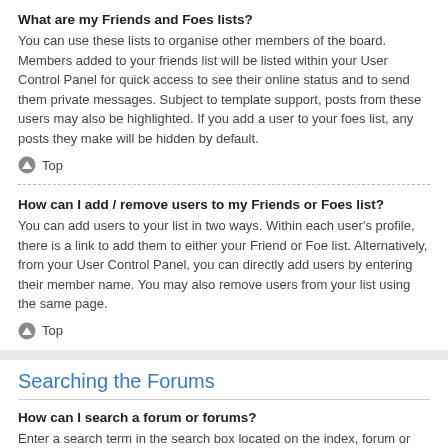What are my Friends and Foes lists?
You can use these lists to organise other members of the board. Members added to your friends list will be listed within your User Control Panel for quick access to see their online status and to send them private messages. Subject to template support, posts from these users may also be highlighted. If you add a user to your foes list, any posts they make will be hidden by default.
Top
How can I add / remove users to my Friends or Foes list?
You can add users to your list in two ways. Within each user's profile, there is a link to add them to either your Friend or Foe list. Alternatively, from your User Control Panel, you can directly add users by entering their member name. You may also remove users from your list using the same page.
Top
Searching the Forums
How can I search a forum or forums?
Enter a search term in the search box located on the index, forum or topic pages. Advanced search can be accessed by clicking the “Advance Search” link which is available on all pages on the forum. How to access the search may depend on the style used.
Top